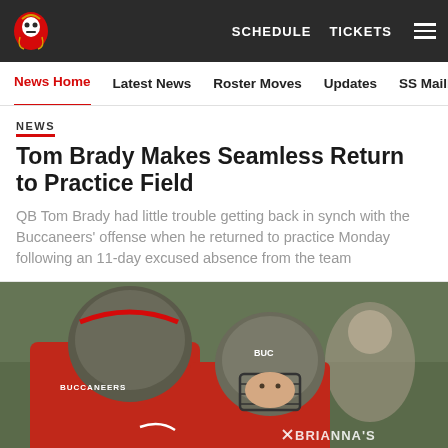Tampa Bay Buccaneers navigation — SCHEDULE  TICKETS
News Home  Latest News  Roster Moves  Updates  SS Mailbag
NEWS
Tom Brady Makes Seamless Return to Practice Field
QB Tom Brady had little trouble getting back in synch with the Buccaneers' offense when he returned to practice Monday following an 11-day excused absence from the team
[Figure (photo): Two Tampa Bay Buccaneers players in helmets and red jerseys on the practice field, with a BRIANNA'S sponsor watermark visible]
Social share icons: Facebook, Twitter, Email, Link